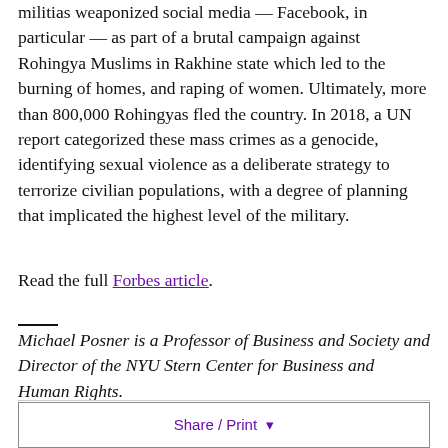militias weaponized social media — Facebook, in particular — as part of a brutal campaign against Rohingya Muslims in Rakhine state which led to the burning of homes, and raping of women. Ultimately, more than 800,000 Rohingyas fled the country. In 2018, a UN report categorized these mass crimes as a genocide, identifying sexual violence as a deliberate strategy to terrorize civilian populations, with a degree of planning that implicated the highest level of the military.
Read the full Forbes article.
Michael Posner is a Professor of Business and Society and Director of the NYU Stern Center for Business and Human Rights.
Share / Print ▾